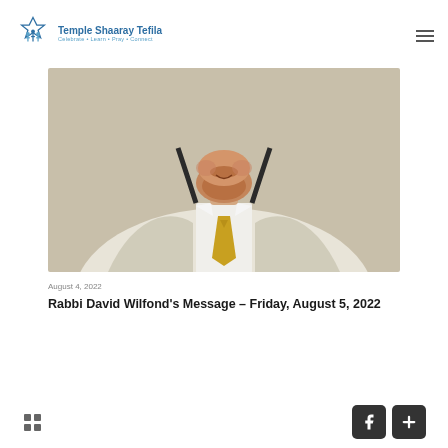Temple Shaaray Tefila — Celebrate • Learn • Pray • Connect
[Figure (photo): Close-up photo of a man from chin to chest, wearing a white suit jacket, white shirt, gold tie, and dark suspenders, with a reddish-brown beard, smiling slightly against a beige background.]
August 4, 2022
Rabbi David Wilfond's Message – Friday, August 5, 2022